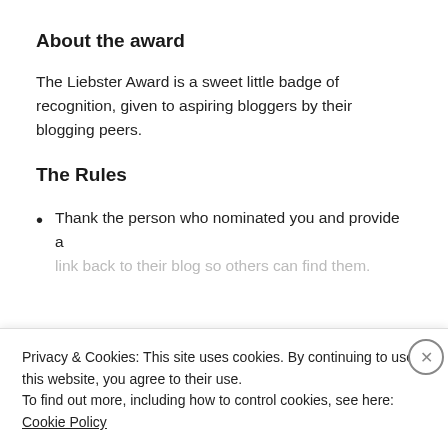About the award
The Liebster Award is a sweet little badge of recognition, given to aspiring bloggers by their blogging peers.
The Rules
Thank the person who nominated you and provide a link back to their blog so others can find them.
Privacy & Cookies: This site uses cookies. By continuing to use this website, you agree to their use.
To find out more, including how to control cookies, see here:
Cookie Policy
CLOSE AND ACCEPT